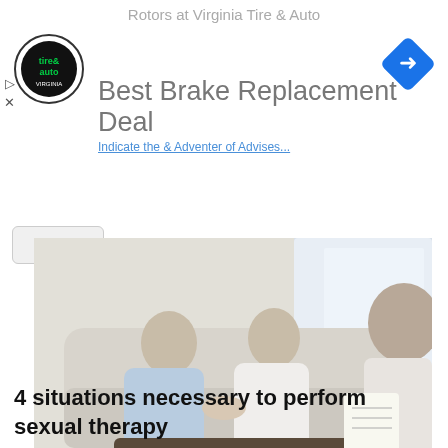Rotors at Virginia Tire & Auto
Best Brake Replacement Deal
[Figure (photo): A couple sitting on a couch holding hands, facing each other, with a therapist or counselor sitting across from them taking notes. Bright indoor setting.]
4 situations necessary to perform sexual therapy